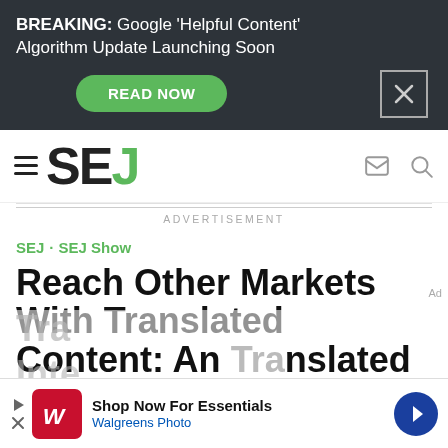BREAKING: Google ‘Helpful Content’ Algorithm Update Launching Soon
[Figure (logo): SEJ (Search Engine Journal) logo with hamburger menu icon, mail icon, and search icon]
ADVERTISEMENT
SEJ · SEJ Show
Reach Other Markets With Translated Content: An Interview With...
[Figure (infographic): Walgreens Photo advertisement banner: Shop Now For Essentials, Walgreens Photo]